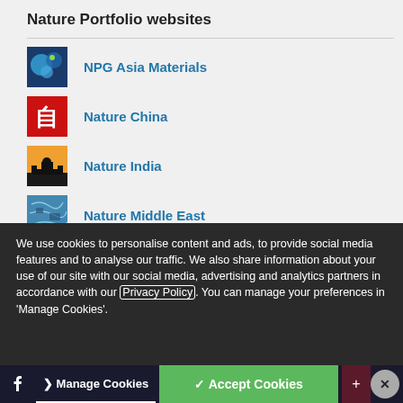Nature Portfolio websites
NPG Asia Materials
Nature China
Nature India
Nature Middle East
We use cookies to personalise content and ads, to provide social media features and to analyse our traffic. We also share information about your use of our site with our social media, advertising and analytics partners in accordance with our Privacy Policy. You can manage your preferences in 'Manage Cookies'.
Manage Cookies
✓ Accept Cookies